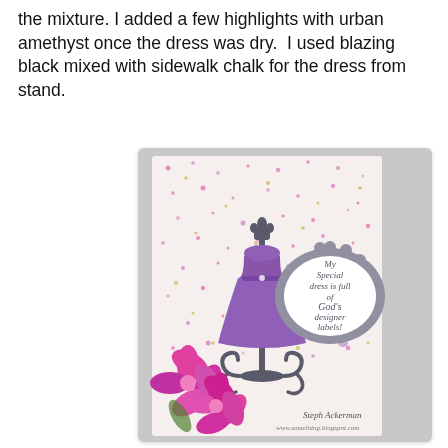the mixture. I added a few highlights with urban amethyst once the dress was dry.  I used blazing black mixed with sidewalk chalk for the dress from stand.
[Figure (photo): A handmade greeting card featuring a purple dress form on a decorative stand, pink/magenta flowers at the bottom, a scalloped oval frame with cursive text reading 'My Special dress is full of God's designer labels', all on a speckled pink and white background with gold dots. Signed 'Steph Ackerman' at the bottom.]